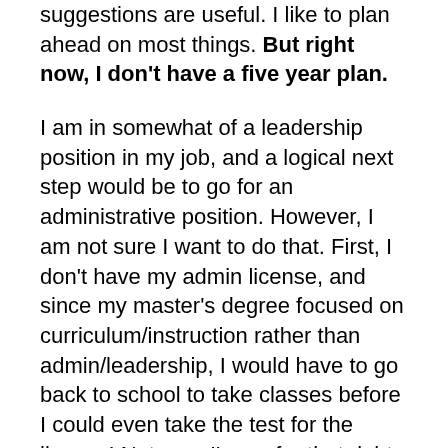suggestions are useful. I like to plan ahead on most things. But right now, I don't have a five year plan.
I am in somewhat of a leadership position in my job, and a logical next step would be to go for an administrative position. However, I am not sure I want to do that. First, I don't have my admin license, and since my master's degree focused on curriculum/instruction rather than admin/leadership, I would have to go back to school to take classes before I could even take the test for the license! Not sure I'm up for that right now.
However, I also have begun to question our culture's obsession with upward mobility. Everyone is trying to move upward an